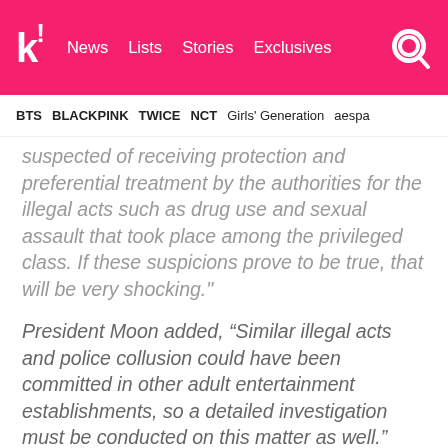Koreaboo | News  Lists  Stories  Exclusives
BTS  BLACKPINK  TWICE  NCT  Girls' Generation  aespa
suspected of receiving protection and preferential treatment by the authorities for the illegal acts such as drug use and sexual assault that took place among the privileged class. If these suspicions prove to be true, that will be very shocking."
President Moon added, “Similar illegal acts and police collusion could have been committed in other adult entertainment establishments, so a detailed investigation must be conducted on this matter as well.”
SOURCE